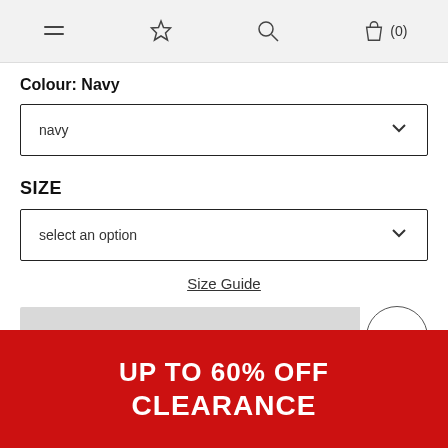Navigation bar with menu, wishlist, search, and bag icons
Colour: Navy
navy (dropdown)
SIZE
select an option (dropdown)
Size Guide
Sold Out
UP TO 60% OFF
CLEARANCE